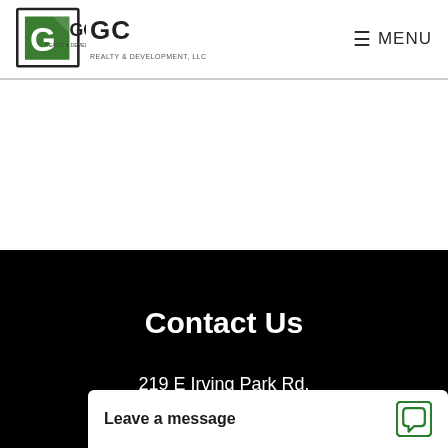GC Realty & Development, LLC — MENU
Contact Us
219 E Irving Park Rd.
Roselle, IL 60172
63...
Leave a message